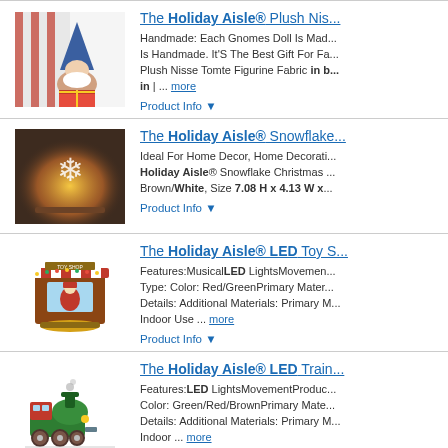[Figure (photo): Plush gnome doll with blue hat on gift box]
The Holiday Aisle® Plush Nis... Handmade: Each Gnomes Doll Is Mad... Is Handmade. It'S The Best Gift For Fa... Plush Nisse Tomte Figurine Fabric in b... in | ... more
Product Info ▼
[Figure (photo): Snowflake Christmas decoration with warm light glow]
The Holiday Aisle® Snowflake... Ideal For Home Decor, Home Decorati... Holiday Aisle® Snowflake Christmas ... Brown/White, Size 7.08 H x 4.13 W x ...
Product Info ▼
[Figure (photo): LED Toy Shop music figurine with Santa scene]
The Holiday Aisle® LED Toy S... Features:MusicalLED LightsMovemen... Type: Color: Red/GreenPrimary Mater... Details: Additional Materials: Primary M... Indoor Use ... more
Product Info ▼
[Figure (photo): LED Train figurine in green and red colors]
The Holiday Aisle® LED Train... Features:LED LightsMovementProduc... Color: Green/Red/BrownPrimary Mate... Details: Additional Materials: Primary M... Indoor ... more
Product Info ▼